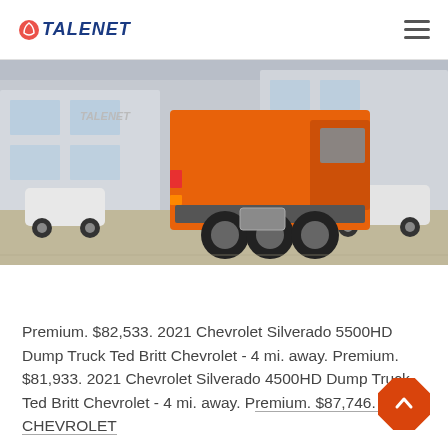TALENET
[Figure (photo): Rear view of an orange heavy-duty truck/tractor unit parked in a commercial yard, with other vehicles visible in the background. Buildings and a logo visible behind.]
Premium. $82,533. 2021 Chevrolet Silverado 5500HD Dump Truck Ted Britt Chevrolet - 4 mi. away. Premium. $81,933. 2021 Chevrolet Silverado 4500HD Dump Truck Ted Britt Chevrolet - 4 mi. away. Premium. $87,746. 2021 CHEVROLET